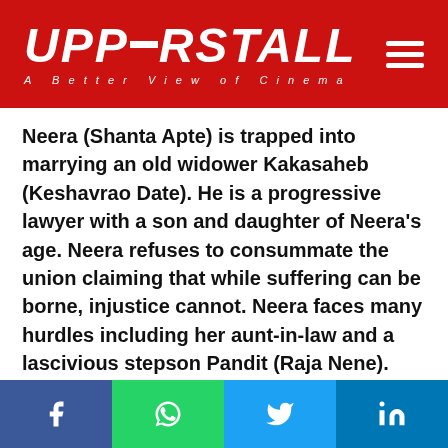UPPERSTALL — A Better View of Cinema
Neera (Shanta Apte) is trapped into marrying an old widower Kakasaheb (Keshavrao Date). He is a progressive lawyer with a son and daughter of Neera's age. Neera refuses to consummate the union claiming that while suffering can be borne, injustice cannot. Neera faces many hurdles including her aunt-in-law and a lascivious stepson Pandit (Raja Nene). Finally, the widower, realizing the unfairness of the situation, commits suicide thus freeing Neera.
Kunku was Prabhat's first film on a sociological theme
Facebook | WhatsApp | Twitter | LinkedIn